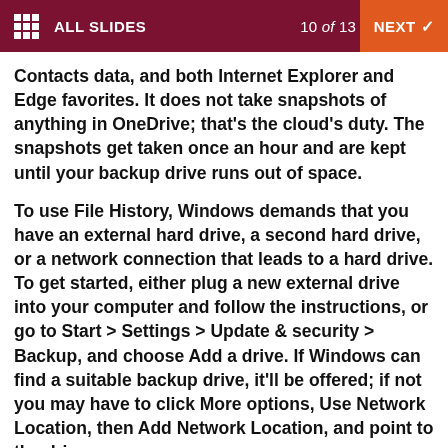ALL SLIDES    10 of 13    NEXT
Contacts data, and both Internet Explorer and Edge favorites. It does not take snapshots of anything in OneDrive; that’s the cloud’s duty. The snapshots get taken once an hour and are kept until your backup drive runs out of space.
To use File History, Windows demands that you have an external hard drive, a second hard drive, or a network connection that leads to a hard drive. To get started, either plug a new external drive into your computer and follow the instructions, or go to Start > Settings > Update & security > Backup, and choose Add a drive. If Windows can find a suitable backup drive, it’ll be offered; if not you may have to click More options, Use Network Location, then Add Network Location, and point to the drive.